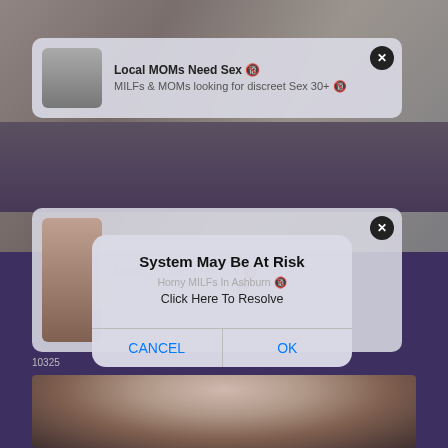[Figure (screenshot): Screenshot of a mobile browser showing multiple adult ad notification pop-ups overlaid on explicit content, with a system alert dialog in the foreground reading 'System May Be At Risk / Click Here To Resolve' with CANCEL and OK buttons.]